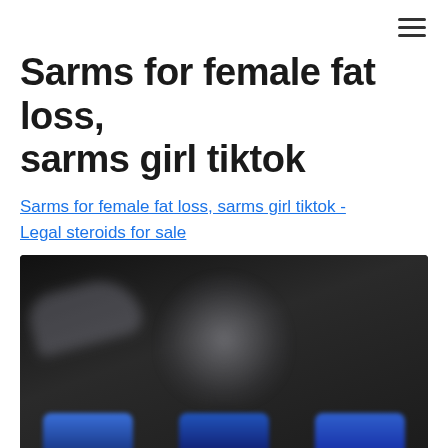≡
Sarms for female fat loss, sarms girl tiktok
Sarms for female fat loss, sarms girl tiktok - Legal steroids for sale
[Figure (photo): Blurred dark promotional image showing a figure and three supplement bottles at the bottom with blue and gold coloring]